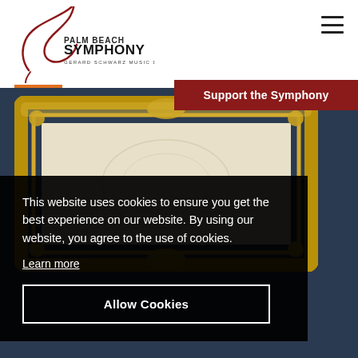[Figure (logo): Palm Beach Symphony logo with ornate cursive S and text 'PALM BEACH SYMPHONY, GERARD SCHWARZ MUSIC DIRECTOR']
[Figure (other): Hamburger menu icon (three horizontal lines) in top right corner]
Support the Symphony
[Figure (photo): Ornate gold baroque picture frame on dark blue/grey background]
This website uses cookies to ensure you get the best experience on our website. By using our website, you agree to the use of cookies.
Learn more
Allow Cookies